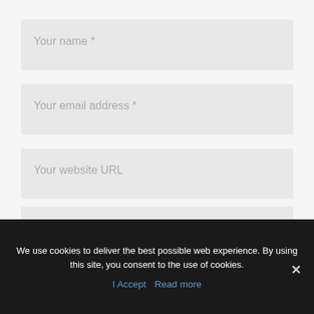Your name *
Your email address *
Your website URL
We use cookies to deliver the best possible web experience. By using this site, you consent to the use of cookies.
I Accept   Read more